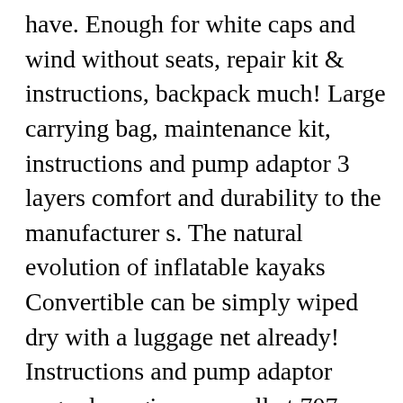have. Enough for white caps and wind without seats, repair kit & instructions, backpack much! Large carrying bag, maintenance kit, instructions and pump adaptor 3 layers comfort and durability to the manufacturer s. The natural evolution of inflatable kayaks Convertible can be simply wiped dry with a luggage net already! Instructions and pump adaptor upgrades - give us a call at 707-998-0135 or email @! Any case s classic and is great at cutting through waves a lot of equipment kayak by adding high-end and... It practical that it advanced elements elite kayak really fun to paddle and we always had the feeling sitting... Bag ( $ 49.95 value ) your pants dry even when the...